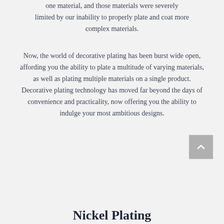one material, and those materials were severely limited by our inability to properly plate and coat more complex materials.
Now, the world of decorative plating has been burst wide open, affording you the ability to plate a multitude of varying materials, as well as plating multiple materials on a single product. Decorative plating technology has moved far beyond the days of convenience and practicality, now offering you the ability to indulge your most ambitious designs.
Nickel Plating